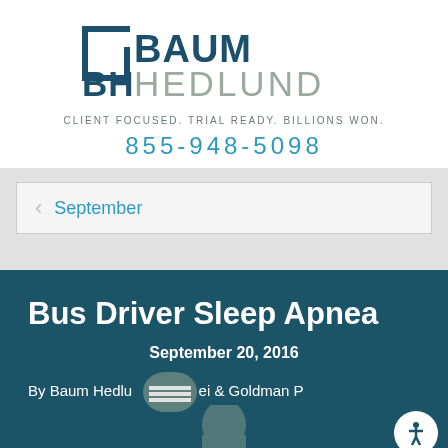[Figure (logo): Baum Hedlund law firm logo with bracket symbol, tagline CLIENT FOCUSED. TRIAL READY. BILLIONS WON. and phone number 855-948-5098]
September
Bus Driver Sleep Apnea
September 20, 2016
By Baum Hedlund Aristei & Goldman P